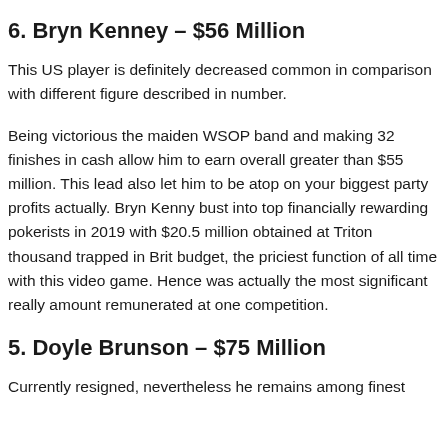6. Bryn Kenney – $56 Million
This US player is definitely decreased common in comparison with different figure described in number.
Being victorious the maiden WSOP band and making 32 finishes in cash allow him to earn overall greater than $55 million. This lead also let him to be atop on your biggest party profits actually. Bryn Kenny bust into top financially rewarding pokerists in 2019 with $20.5 million obtained at Triton thousand trapped in Brit budget, the priciest function of all time with this video game. Hence was actually the most significant really amount remunerated at one competition.
5. Doyle Brunson – $75 Million
Currently resigned, nevertheless he remains among finest